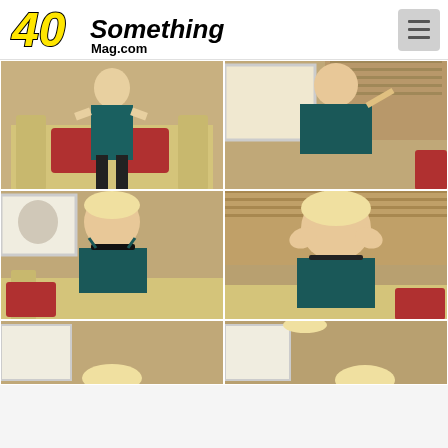[Figure (logo): 40SomethingMag.com website logo with yellow stylized '40' text and black 'Something' text, with 'Mag.com' below]
[Figure (photo): Photo grid showing six thumbnail photos of a blonde woman in lingerie in an indoor setting, arranged in a 2-column grid layout]
[Figure (other): Hamburger menu button icon in top right corner]